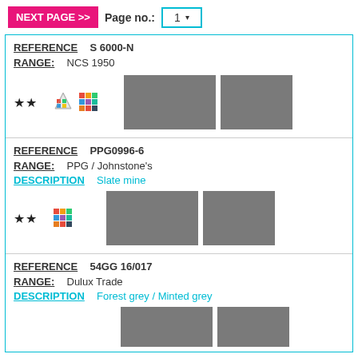NEXT PAGE >> Page no.: 1
REFERENCE   S 6000-N
RANGE:   NCS 1950
[Figure (illustration): Two star rating icons, a palette icon, a color grid icon, and two grey color swatches]
REFERENCE   PPG0996-6
RANGE:   PPG / Johnstone's
DESCRIPTION   Slate mine
[Figure (illustration): Two star rating icons, a color grid icon, and two grey color swatches]
REFERENCE   54GG 16/017
RANGE:   Dulux Trade
DESCRIPTION   Forest grey / Minted grey
[Figure (illustration): Two grey color swatches (partially visible)]